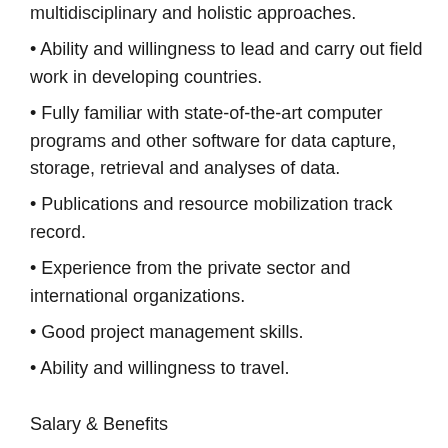multidisciplinary and holistic approaches.
Ability and willingness to lead and carry out field work in developing countries.
Fully familiar with state-of-the-art computer programs and other software for data capture, storage, retrieval and analyses of data.
Publications and resource mobilization track record.
Experience from the private sector and international organizations.
Good project management skills.
Ability and willingness to travel.
Salary & Benefits
This is an Internationally Recruited Staff (IRS) position and WorldFish offers a competitive